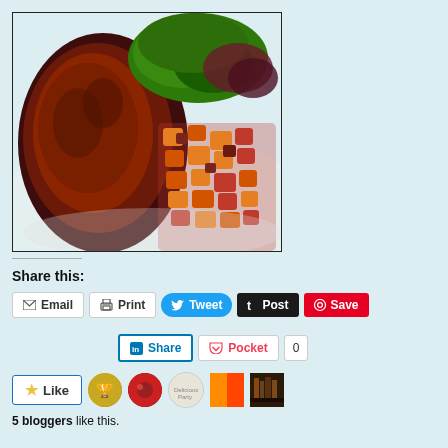[Figure (photo): Food photo showing a grilled steak with broccoli/greens and roasted sweet potato chunks on a white plate]
Share this:
Email  Print  Tweet  Post  Save
Share  Pocket  0
Like
5 bloggers like this.